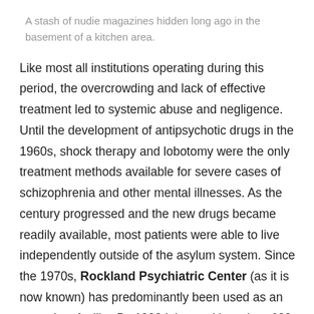A stash of nudie magazines hidden long ago in the basement of a kitchen area.
Like most all institutions operating during this period, the overcrowding and lack of effective treatment led to systemic abuse and negligence.  Until the development of antipsychotic drugs in the 1960s, shock therapy and lobotomy were the only treatment methods available for severe cases of schizophrenia and other mental illnesses. As the century progressed and the new drugs became readily available, most patients were able to live independently outside of the asylum system. Since the 1970s, Rockland Psychiatric Center (as it is now known) has predominantly been used as an outpatient facility. By 1999 it housed less than 600 patients.  Several new facilities were constructed in more recent years for